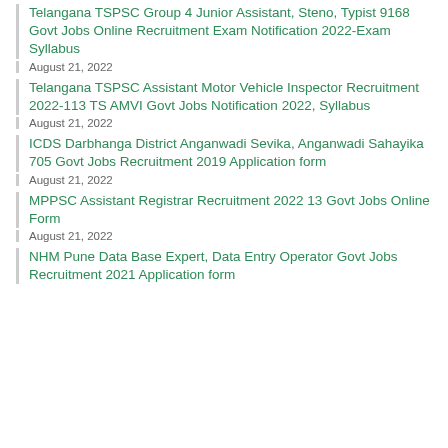Telangana TSPSC Group 4 Junior Assistant, Steno, Typist 9168 Govt Jobs Online Recruitment Exam Notification 2022-Exam Syllabus
August 21, 2022
Telangana TSPSC Assistant Motor Vehicle Inspector Recruitment 2022-113 TS AMVI Govt Jobs Notification 2022, Syllabus
August 21, 2022
ICDS Darbhanga District Anganwadi Sevika, Anganwadi Sahayika 705 Govt Jobs Recruitment 2019 Application form
August 21, 2022
MPPSC Assistant Registrar Recruitment 2022 13 Govt Jobs Online Form
August 21, 2022
NHM Pune Data Base Expert, Data Entry Operator Govt Jobs Recruitment 2021 Application form